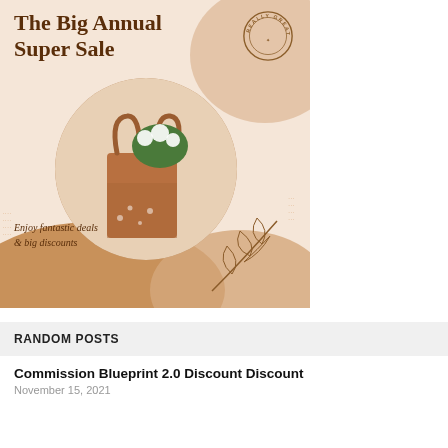[Figure (illustration): Sale advertisement banner with peach/tan background, circular photo of a tan tote bag with white flowers, decorative blobs, leaf illustration, circular brand stamp reading 'REALLY GREAT BRAND', title 'The Big Annual Super Sale', tagline 'Enjoy fantastic deals & big discounts']
RANDOM POSTS
Commission Blueprint 2.0 Discount Discount
November 15, 2021